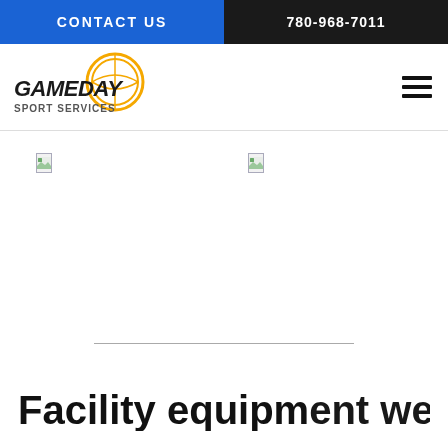CONTACT US | 780-968-7011
[Figure (logo): Gameday Sport Services logo with basketball graphic and bold text]
[Figure (other): Three broken image placeholders arranged horizontally]
Facility equipment we